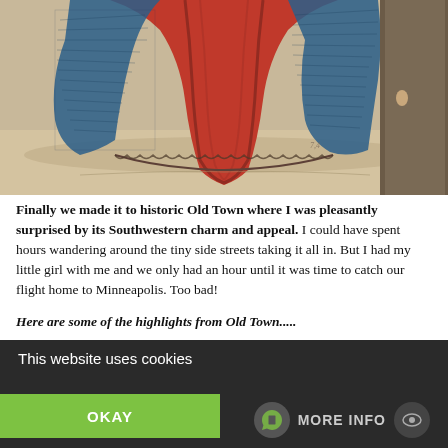[Figure (illustration): Bottom portion of an illustrated figure wearing a large red robe/dress with blue and dark accents, on a tan/parchment background. Appears to be a historical or medieval-style illustration.]
Finally we made it to historic Old Town where I was pleasantly surprised by its Southwestern charm and appeal. I could have spent hours wandering around the tiny side streets taking it all in. But I had my little girl with me and we only had an hour until it was time to catch our flight home to Minneapolis. Too bad!
Here are some of the highlights from Old Town.....
This website uses cookies
OKAY
MORE INFO